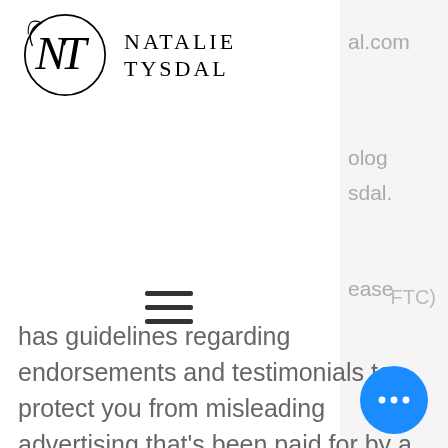[Figure (logo): Natalie Tysdal logo with stylized NT monogram and brand name NATALIE TYSDAL in spaced serif capitals]
[Figure (other): Hamburger menu icon (three horizontal lines)]
has guidelines regarding endorsements and testimonials to protect you from misleading advertising that's been paid for by a company. Because NatalieTysdal.com is an income s and does occasionally include
[Figure (other): Blue circular chat button with three dots]